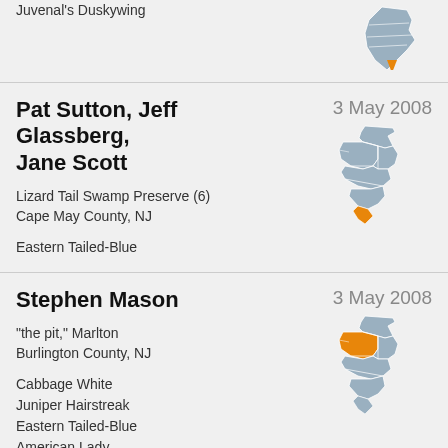Juvenal's Duskywing
Pat Sutton, Jeff Glassberg, Jane Scott
3 May 2008
Lizard Tail Swamp Preserve (6)
Cape May County, NJ
Eastern Tailed-Blue
[Figure (map): Outline map of New Jersey counties with Cape May County highlighted in orange]
Stephen Mason
3 May 2008
"the pit," Marlton
Burlington County, NJ
Cabbage White
Juniper Hairstreak
Eastern Tailed-Blue
American Lady
[Figure (map): Outline map of New Jersey counties with Burlington County highlighted in orange]